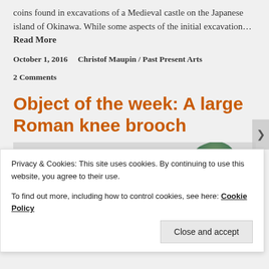coins found in excavations of a Medieval castle on the Japanese island of Okinawa. While some aspects of the initial excavation… Read More
October 1, 2016    Christof Maupin / Past Present Arts
2 Comments
Object of the week: A large Roman knee brooch
[Figure (photo): Partial photo of a Roman knee brooch artifact, showing a dark greenish metallic curved object against a light background]
Privacy & Cookies: This site uses cookies. By continuing to use this website, you agree to their use.
To find out more, including how to control cookies, see here: Cookie Policy
Close and accept